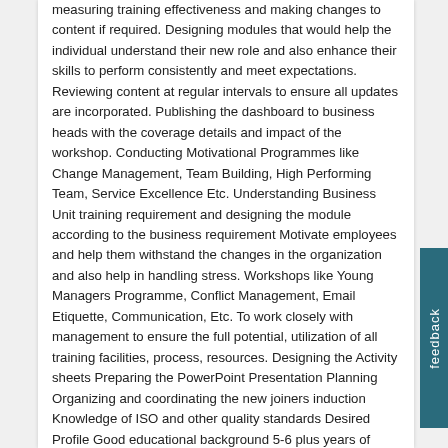measuring training effectiveness and making changes to content if required. Designing modules that would help the individual understand their new role and also enhance their skills to perform consistently and meet expectations. Reviewing content at regular intervals to ensure all updates are incorporated. Publishing the dashboard to business heads with the coverage details and impact of the workshop. Conducting Motivational Programmes like Change Management, Team Building, High Performing Team, Service Excellence Etc. Understanding Business Unit training requirement and designing the module according to the business requirement Motivate employees and help them withstand the changes in the organization and also help in handling stress. Workshops like Young Managers Programme, Conflict Management, Email Etiquette, Communication, Etc. To work closely with management to ensure the full potential, utilization of all training facilities, process, resources. Designing the Activity sheets Preparing the PowerPoint Presentation Planning Organizing and coordinating the new joiners induction Knowledge of ISO and other quality standards Desired Profile Good educational background 5-6 plus years of experience in the soft-skill training Should be open to work in different time line based on the training requirement Knowledge of ISO and other quality related stuff will be added advantage Experience 5 - 9 Years